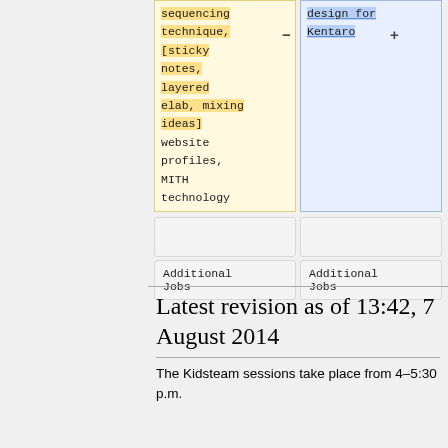[Figure (other): Diff comparison table showing two columns. Left column (yellow background) with minus sign shows: sequencing technique, [sticky notes, layered elab, mixing ideas] website profiles, MITH technology. Right column (blue background) with plus sign shows: design for Kentaro. Below are two 'Additional Jobs' boxes side by side.]
Latest revision as of 13:42, 7 August 2014
The Kidsteam sessions take place from 4–5:30 p.m.